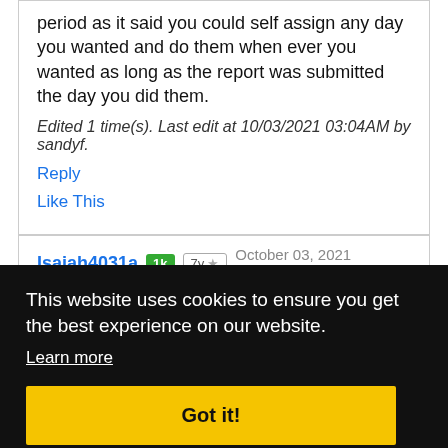period as it said you could self assign any day you wanted and do them when ever you wanted as long as the report was submitted the day you did them.
Edited 1 time(s). Last edit at 10/03/2021 03:04AM by sandyf.
Reply
Like This
Isaiah4031a 1k 7y ★ October 03, 2021 01:49AM
ot
This website uses cookies to ensure you get the best experience on our website. Learn more
Got it!
07AM
cents each for our size packages. It puts it over the top of